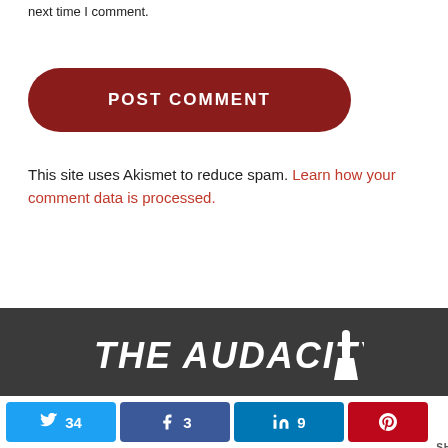next time I comment.
POST COMMENT
This site uses Akismet to reduce spam. Learn how your comment data is processed.
[Figure (logo): THE AUDACITY logo in white italic bold text on dark gray background with a microphone/lighthouse icon]
Twitter 34 | Facebook 3 | LinkedIn 9 | Pinterest | < 46 SHARES